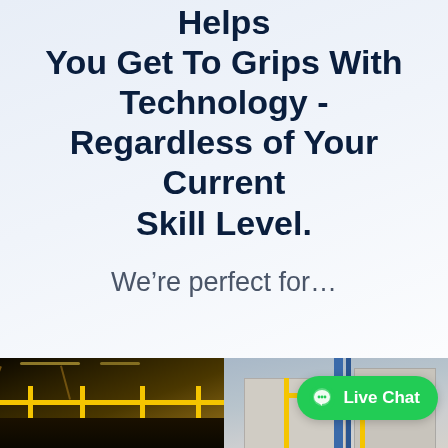Helps You Get To Grips With Technology - Regardless of Your Current Skill Level.
We're perfect for...
[Figure (photo): Industrial warehouse interior with yellow safety railings and overhead lighting, split with a view of a building exterior with blue pipes]